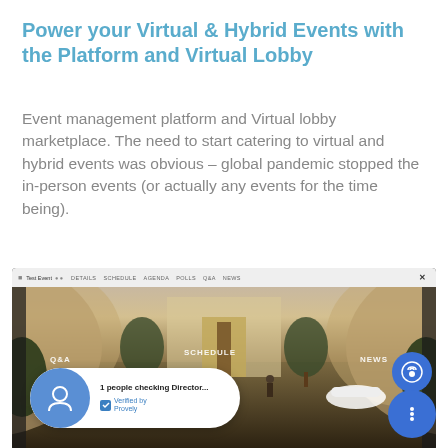Power your Virtual & Hybrid Events with the Platform and Virtual Lobby
Event management platform and Virtual lobby marketplace. The need to start catering to virtual and hybrid events was obvious – global pandemic stopped the in-person events (or actually any events for the time being).
[Figure (screenshot): Screenshot of a virtual event platform showing a 3D lobby interior with navigation labels Q&A, SCHEDULE, and NEWS. A notification popup at the bottom reads '1 people checking Director...' with 'Verified by Provely' badge. Blue call and menu buttons are visible on the right side.]